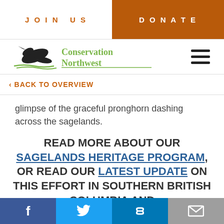JOIN US | DONATE
[Figure (logo): Conservation Northwest logo with eagle and water graphic]
‹ BACK TO OVERVIEW
glimpse of the graceful pronghorn dashing across the sagelands.
READ MORE ABOUT OUR SAGELANDS HERITAGE PROGRAM, OR READ OUR LATEST UPDATE ON THIS EFFORT IN SOUTHERN BRITISH COLUMBIA AND
f  [twitter]  [link]  [mail]